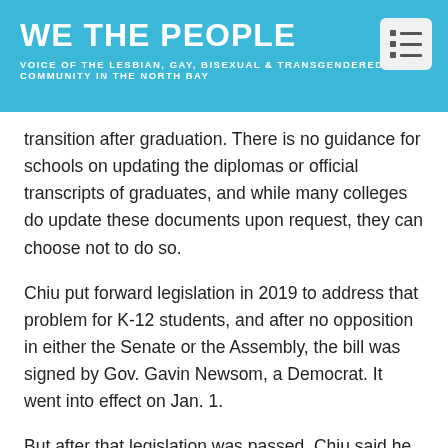WE THE PEOPLE
VOICE OF THE LESBIAN, GAY, BISEXUAL & TRANSGENDERED COMMUNITY IN THE NORTH BAY
transition after graduation. There is no guidance for schools on updating the diplomas or official transcripts of graduates, and while many colleges do update these documents upon request, they can choose not to do so.
Chiu put forward legislation in 2019 to address that problem for K-12 students, and after no opposition in either the Senate or the Assembly, the bill was signed by Gov. Gavin Newsom, a Democrat. It went into effect on Jan. 1.
But after that legislation was passed, Chiu said he began to hear from college graduates who had faced the same issues with their diplomas.
“If a student doesn’t have an updated diploma or transcript, they can face challenges applying for graduate school or